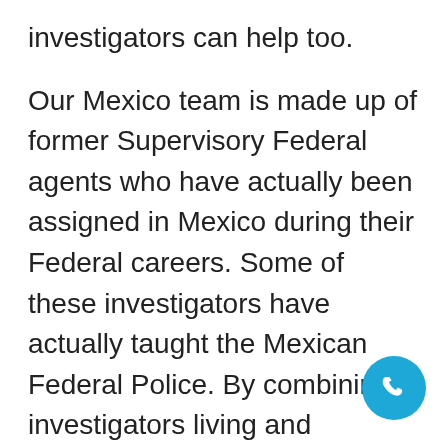investigators can help too.
Our Mexico team is made up of former Supervisory Federal agents who have actually been assigned in Mexico during their Federal careers. Some of these investigators have actually taught the Mexican Federal Police. By combining investigators living and stationed in Mexico with US-based investigators that were given these teaching assignments, we provide investigation in Mexico that is unsurpassed within the current investigative